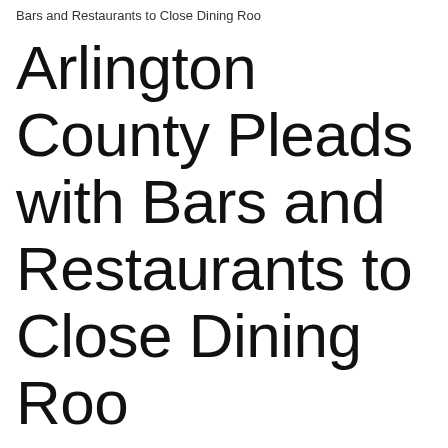Bars and Restaurants to Close Dining Roo
Arlington County Pleads with Bars and Restaurants to Close Dining Roo
Published on March 16, 2020
UPDATE: March 17, 2020: List of bars and restaurants that are Closed or offering To-Go/Curbside Only
Statement from Arlington County